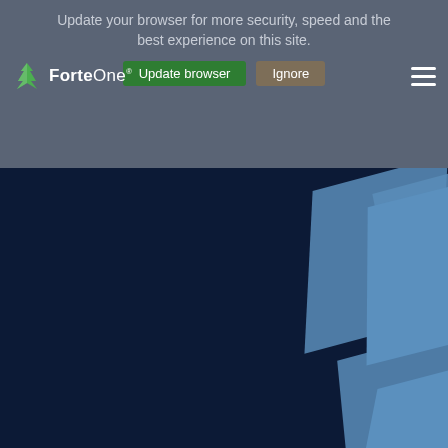Update your browser for more security, speed and the best experience on this site.
[Figure (screenshot): Browser update notification banner with 'Update browser' (green) and 'Ignore' (brown) buttons, ForteOne logo and hamburger menu navigation bar overlay, and large dark navy hero section with a stylized light blue angular chevron/lightning bolt graphic.]